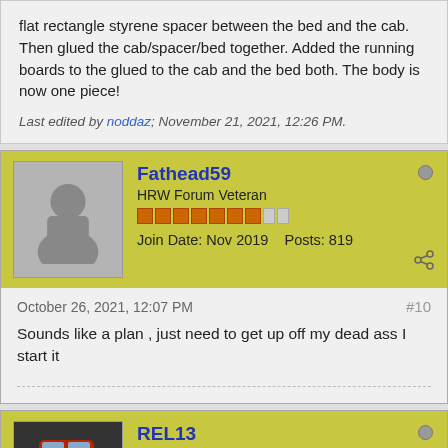flat rectangle styrene spacer between the bed and the cab. Then glued the cab/spacer/bed together. Added the running boards to the glued to the cab and the bed both. The body is now one piece!
Last edited by noddaz; November 21, 2021, 12:26 PM.
Fathead59
HRW Forum Veteran
Join Date: Nov 2019    Posts: 819
October 26, 2021, 12:07 PM
#10
Sounds like a plan , just need to get up off my dead ass I start it
REL13
HRW Forum Veteran